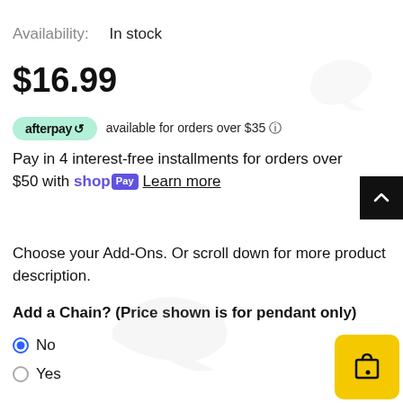Availability: In stock
$16.99
afterpay available for orders over $35
Pay in 4 interest-free installments for orders over $50 with shop Pay Learn more
Choose your Add-Ons. Or scroll down for more product description.
Add a Chain? (Price shown is for pendant only)
No
Yes